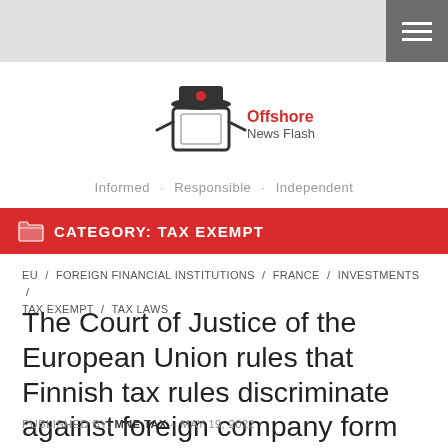Offshore News Flash — Informed · Responsible · Independent
CATEGORY: TAX EXEMPT
EU / FOREIGN FINANCIAL INSTITUTIONS / FRANCE / INVESTMENTS / TAX EXEMPT / TAX LAWS
The Court of Justice of the European Union rules that Finnish tax rules discriminate against foreign company form investment funds.
PUBLISHED BY: MNE TAX – MAY 19, 2022